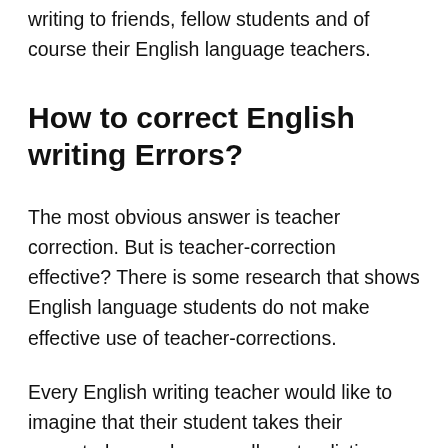writing to friends, fellow students and of course their English language teachers.
How to correct English writing Errors?
The most obvious answer is teacher correction. But is teacher-correction effective? There is some research that shows English language students do not make effective use of teacher-corrections.
Every English writing teacher would like to imagine that their student takes their corrected paper home, pulls out a dictionary and grammar book and carefully goes